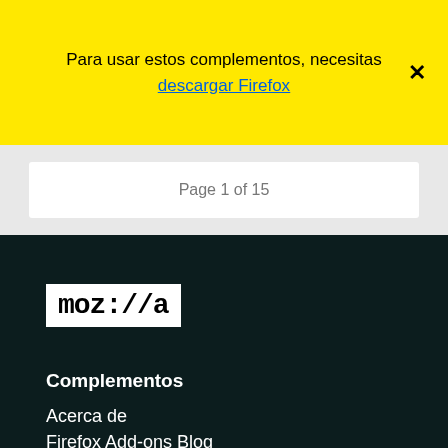Para usar estos complementos, necesitas descargar Firefox
Page 1 of 15
[Figure (logo): Mozilla logo — white background with black bold monospace text 'moz://a']
Complementos
Acerca de
Firefox Add-ons Blog
Taller de extensiones